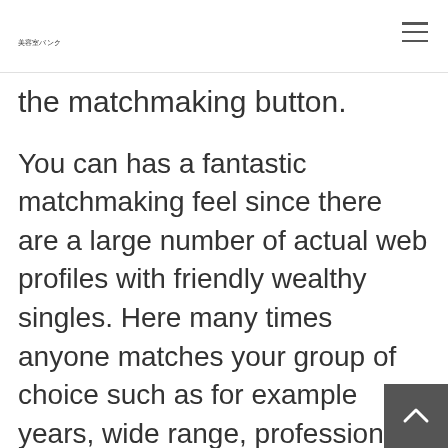美容室バンク
the matchmaking button.
You can has a fantastic matchmaking feel since there are a large number of actual web profiles with friendly wealthy singles. Here many times anyone matches your group of choice such as for example years, wide range, profession, and identity. Thus, delight in an effective convenient online dating right here.
Summation matchmaking wealthy singl…